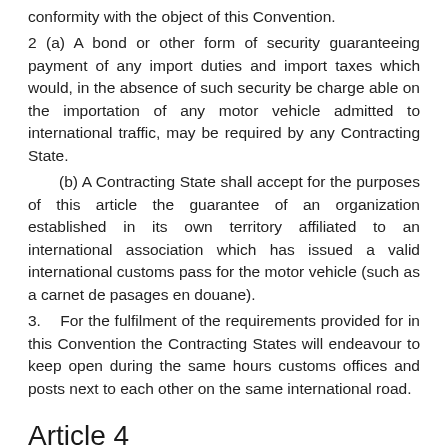conformity with the object of this Convention.
2 (a) A bond or other form of security guaranteeing payment of any import duties and import taxes which would, in the absence of such security be charge able on the importation of any motor vehicle admitted to international traffic, may be required by any Contracting State.
(b) A Contracting State shall accept for the purposes of this article the guarantee of an organization established in its own territory affiliated to an international association which has issued a valid international customs pass for the motor vehicle (such as a carnet de pasages en douane).
3.    For the fulfilment of the requirements provided for in this Convention the Contracting States will endeavour to keep open during the same hours customs offices and posts next to each other on the same international road.
Article 4